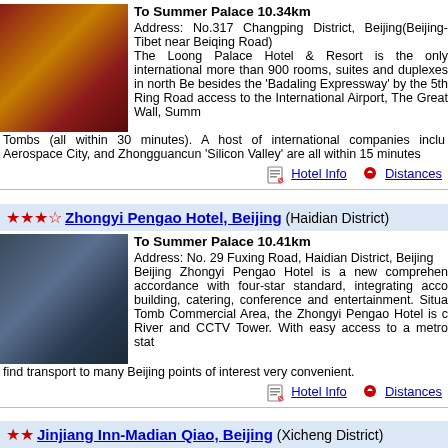[Figure (photo): Loong Palace Hotel exterior at night, illuminated in red and gold tones]
To Summer Palace 10.34km
Address: No.317 Changping District, Beijing(Beijing-Tibet near Beiqing Road)
The Loong Palace Hotel & Resort is the only international... more than 900 rooms, suites and duplexes in north B... besides the 'Badaling Expressway' by the 5th Ring Roa... access to the International Airport, The Great Wall, Summ... Tombs (all within 30 minutes). A host of international companies inclu... Aerospace City, and Zhongguancun 'Silicon Valley' are all within 15 minutes...
Hotel Info   Distances
★★★☆ Zhongyi Pengao Hotel, Beijing (Haidian District)
[Figure (photo): Zhongyi Pengao Hotel exterior at night, blue-toned building]
To Summer Palace 10.41km
Address: No. 29 Fuxing Road, Haidian District, Beijing
Beijing Zhongyi Pengao Hotel is a new comprehen... accordance with four-star standard, integrating acco... building, catering, conference and entertainment. Situa... Tomb Commercial Area, the Zhongyi Pengao Hotel is c... River and CCTV Tower. With easy access to a metro stat... find transport to many Beijing points of interest very convenient.
Hotel Info   Distances
★★ Jinjiang Inn-Madian Qiao, Beijing (Xicheng District)